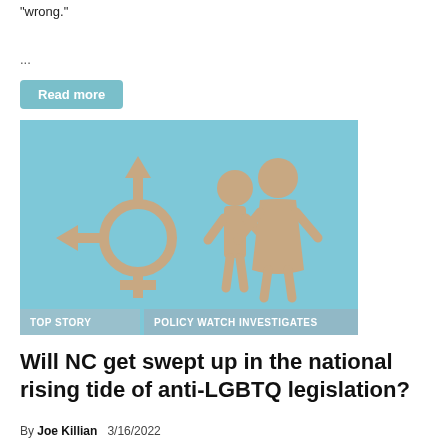“wrong.”
...
Read more
[Figure (photo): A light blue background with wooden cutout figures: a transgender symbol (circle with arrows pointing up, left, and a cross below) and two human silhouettes (a child and an adult woman) standing together. Labels at bottom: TOP STORY, POLICY WATCH INVESTIGATES.]
Will NC get swept up in the national rising tide of anti-LGBTQ legislation?
By Joe Killian  3/16/2022